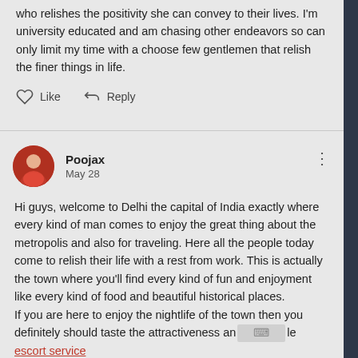who relishes the positivity she can convey to their lives. I'm university educated and am chasing other endeavors so can only limit my time with a choose few gentlemen that relish the finer things in life.
Like   Reply
Poojax
May 28
Hi guys, welcome to Delhi the capital of India exactly where every kind of man comes to enjoy the great thing about the metropolis and also for traveling. Here all the people today come to relish their life with a rest from work. This is actually the town where you'll find every kind of fun and enjoyment like every kind of food and beautiful historical places.
If you are here to enjoy the nightlife of the town then you definitely should taste the attractiveness an [keyboard] le escort service